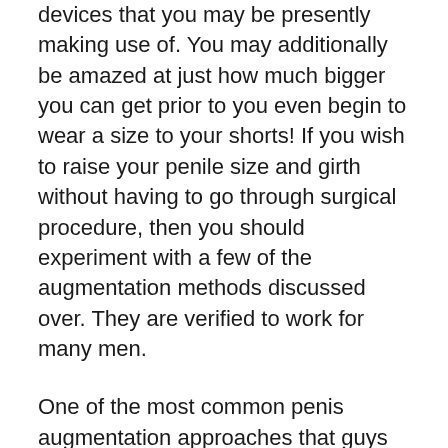devices that you may be presently making use of. You may additionally be amazed at just how much bigger you can get prior to you even begin to wear a size to your shorts! If you wish to raise your penile size and girth without having to go through surgical procedure, then you should experiment with a few of the augmentation methods discussed over. They are verified to work for many men.
One of the most common penis augmentation approaches that guys use involves the use of grip gadgets. Traction devices function by using constant tension to the body organ. When this continual pressure is applied, the body reacts by